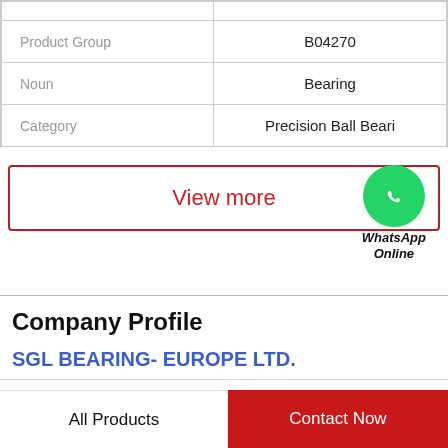|  |  |
| --- | --- |
|  |  |
| Product Group | B04270 |
| Noun | Bearing |
| Category | Precision Ball Beari |
[Figure (other): Red-bordered button with 'View more' text in red, and WhatsApp green circle icon with 'WhatsApp Online' text below]
Company Profile
SGL BEARING- EUROPE LTD.
| Phone | +65-6649-8056 |
All Products
Contact Now